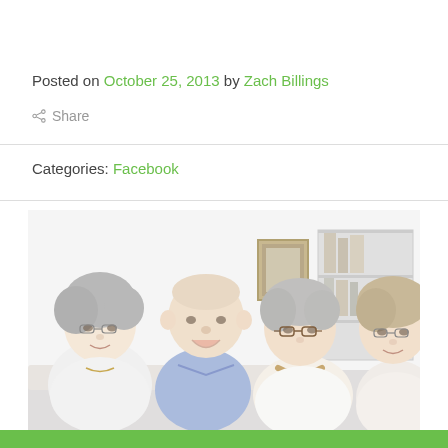Posted on October 25, 2013 by Zach Billings
Share
Categories: Facebook
[Figure (photo): Four elderly people (three women and one man) sitting together, smiling and looking at something, in a bright indoor setting with a bookshelf in the background.]